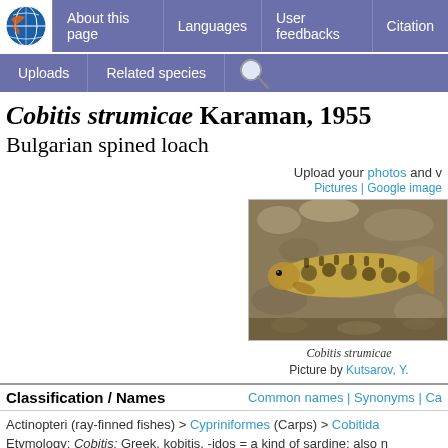About this page | Languages | User feedbacks | Citation | Uploads | Related species
Cobitis strumicae Karaman, 1955
Bulgarian spined loach
Upload your photos and v
Pictures | Google image
[Figure (photo): Photo of Cobitis strumicae fish, a spined loach]
Cobitis strumicae
Picture by Kutsarov, Y.
Classification / Names
Common names | Synonyms | Ca
Actinopteri (ray-finned fishes) > Cypriniformes (Carps) > Cobitida
Etymology: Cobitis: Greek, kobitis, -idos = a kind of sardine; also n
gobius = gudgeon (Ref. 45335).
Environment: milieu / climate zone / depth range / distribution range